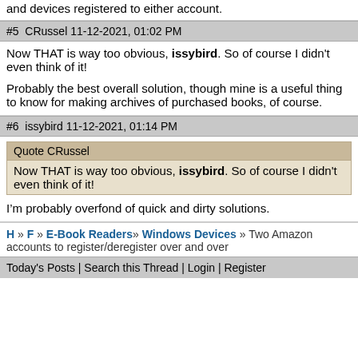and devices registered to either account.
#5  CRussel 11-12-2021, 01:02 PM
Now THAT is way too obvious, issybird. So of course I didn't even think of it!

Probably the best overall solution, though mine is a useful thing to know for making archives of purchased books, of course.
#6  issybird 11-12-2021, 01:14 PM
Quote CRussel
Now THAT is way too obvious, issybird. So of course I didn't even think of it!
I’m probably overfond of quick and dirty solutions.
H » F » E-Book Readers» Windows Devices » Two Amazon accounts to register/deregister over and over
Today's Posts | Search this Thread | Login | Register